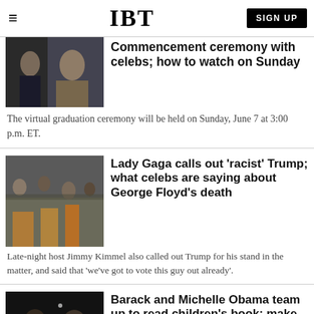IBT
Commencement ceremony with celebs; how to watch on Sunday
The virtual graduation ceremony will be held on Sunday, June 7 at 3:00 p.m. ET.
Lady Gaga calls out 'racist' Trump; what celebs are saying about George Floyd's death
Late-night host Jimmy Kimmel also called out Trump for his stand in the matter, and said that 'we've got to vote this guy out already'.
Barack and Michelle Obama team up to read children's book; make special announcement